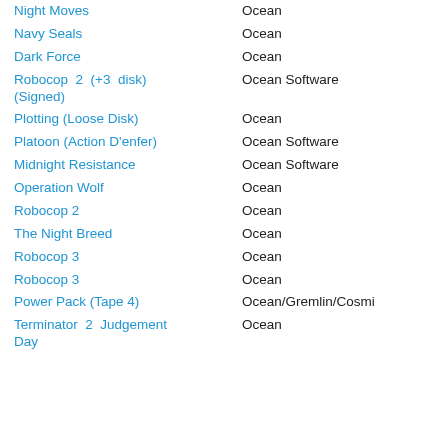Night Moves | Ocean
Navy Seals | Ocean
Dark Force | Ocean
Robocop 2 (+3 disk) (Signed) | Ocean Software
Plotting (Loose Disk) | Ocean
Platoon (Action D'enfer) | Ocean Software
Midnight Resistance | Ocean Software
Operation Wolf | Ocean
Robocop 2 | Ocean
The Night Breed | Ocean
Robocop 3 | Ocean
Robocop 3 | Ocean
Power Pack (Tape 4) | Ocean/Gremlin/Cosmi
Terminator 2 Judgement Day | Ocean